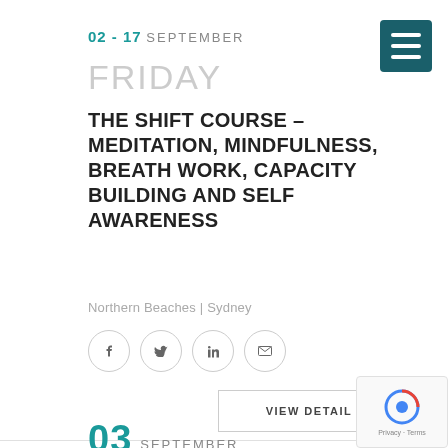02 - 17 SEPTEMBER
FRIDAY
THE SHIFT COURSE – MEDITATION, MINDFULNESS, BREATH WORK, CAPACITY BUILDING AND SELF AWARENESS
Northern Beaches | Sydney
VIEW DETAIL
03 SEPTEMBER